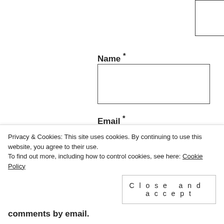[Figure (screenshot): Partially visible textarea (comment input box) at top of page with resize handle]
Name *
[Figure (screenshot): Text input field for Name]
Email *
[Figure (screenshot): Text input field for Email]
Website
[Figure (screenshot): Text input field for Website]
Privacy & Cookies: This site uses cookies. By continuing to use this website, you agree to their use.
To find out more, including how to control cookies, see here: Cookie Policy
Close and accept
comments by email.